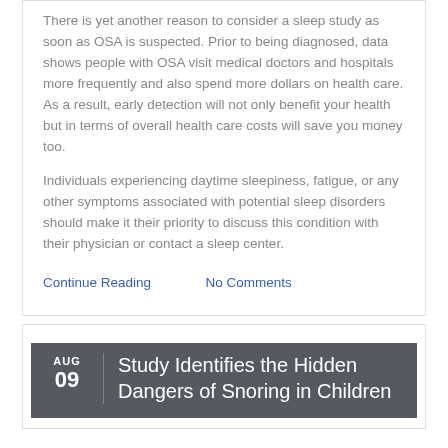There is yet another reason to consider a sleep study as soon as OSA is suspected. Prior to being diagnosed, data shows people with OSA visit medical doctors and hospitals more frequently and also spend more dollars on health care. As a result, early detection will not only benefit your health but in terms of overall health care costs will save you money too.
Individuals experiencing daytime sleepiness, fatigue, or any other symptoms associated with potential sleep disorders should make it their priority to discuss this condition with their physician or contact a sleep center.
Continue Reading    No Comments
Study Identifies the Hidden Dangers of Snoring in Children
AUG 09